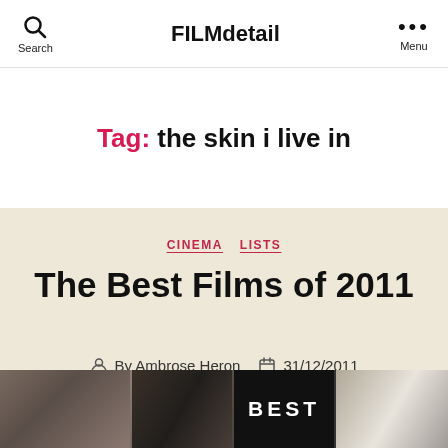FILMdetail
Tag: the skin i live in
CINEMA  LISTS
The Best Films of 2011
By Ambrose Heron  31/12/2011
[Figure (photo): Film strip collage showing multiple movie stills and posters including a 'BEST' overlay and The Interrupters poster]